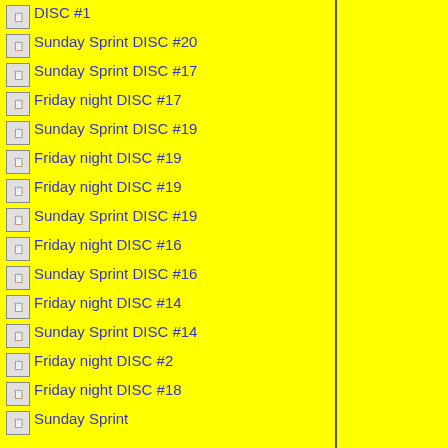DISC #1
Sunday Sprint DISC #20
Sunday Sprint DISC #17
Friday night DISC #17
Sunday Sprint DISC #19
Friday night DISC #19
Friday night DISC #19
Sunday Sprint DISC #19
Friday night DISC #16
Sunday Sprint DISC #16
Friday night DISC #14
Sunday Sprint DISC #14
Friday night DISC #2
Friday night DISC #18
Sunday Sprint...